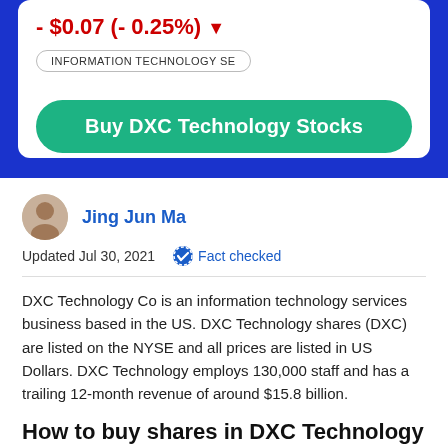- $0.07  (- 0.25%) ▼
INFORMATION TECHNOLOGY SE
Buy DXC Technology Stocks
Jing Jun Ma
Updated Jul 30, 2021
Fact checked
DXC Technology Co is an information technology services business based in the US. DXC Technology shares (DXC) are listed on the NYSE and all prices are listed in US Dollars. DXC Technology employs 130,000 staff and has a trailing 12-month revenue of around $15.8 billion.
How to buy shares in DXC Technology